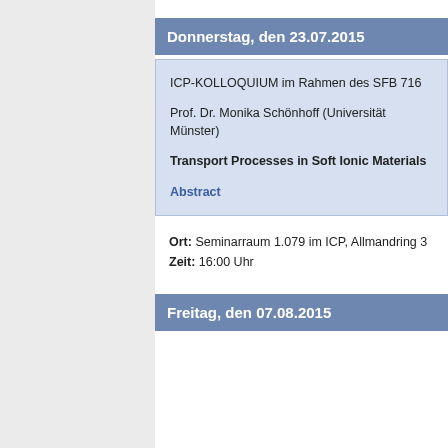Donnerstag, den 23.07.2015
ICP-KOLLOQUIUM im Rahmen des SFB 716

Prof. Dr. Monika Schönhoff (Universität Münster)

Transport Processes in Soft Ionic Materials

Abstract
Ort: Seminarraum 1.079 im ICP, Allmandring 3
Zeit: 16:00 Uhr
Freitag, den 07.08.2015